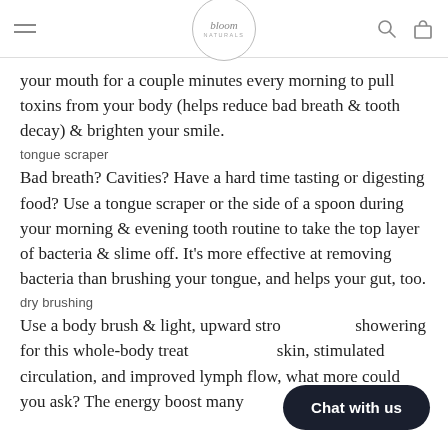bloom naturals
your mouth for a couple minutes every morning to pull toxins from your body (helps reduce bad breath & tooth decay) & brighten your smile.
tongue scraper
Bad breath? Cavities? Have a hard time tasting or digesting food? Use a tongue scraper or the side of a spoon during your morning & evening tooth routine to take the top layer of bacteria & slime off. It's more effective at removing bacteria than brushing your tongue, and helps your gut, too.
dry brushing
Use a body brush & light, upward stro showering for this whole-body treat skin, stimulated circulation, and improved lymph flow, what more could you ask? The energy boost many